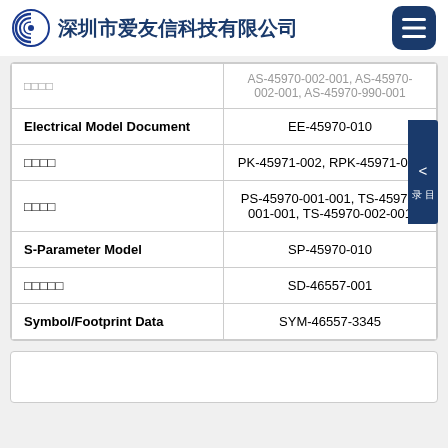深圳市爱友信科技有限公司
| Document Type | Document ID |
| --- | --- |
| □□□□ | AS-45970-002-001, AS-45970-002-001, AS-45970-990-001 |
| Electrical Model Document | EE-45970-010 |
| □□□□ | PK-45971-002, RPK-45971-009 |
| □□□□ | PS-45970-001-001, TS-45970-001-001, TS-45970-002-001 |
| S-Parameter Model | SP-45970-010 |
| □□□□□ | SD-46557-001 |
| Symbol/Footprint Data | SYM-46557-3345 |